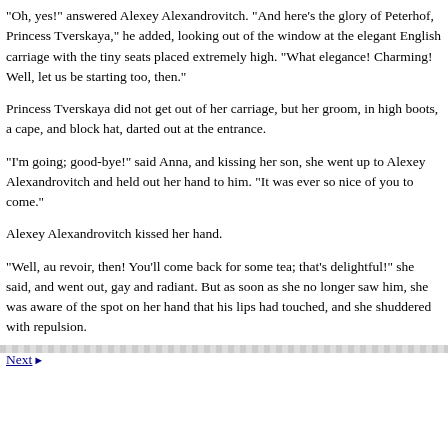"Oh, yes!" answered Alexey Alexandrovitch. "And here's the glory of Peterhof, Princess Tverskaya," he added, looking out of the window at the elegant English carriage with the tiny seats placed extremely high. "What elegance! Charming! Well, let us be starting too, then."
Princess Tverskaya did not get out of her carriage, but her groom, in high boots, a cape, and block hat, darted out at the entrance.
"I'm going; good-bye!" said Anna, and kissing her son, she went up to Alexey Alexandrovitch and held out her hand to him. "It was ever so nice of you to come."
Alexey Alexandrovitch kissed her hand.
"Well, au revoir, then! You'll come back for some tea; that's delightful!" she said, and went out, gay and radiant. But as soon as she no longer saw him, she was aware of the spot on her hand that his lips had touched, and she shuddered with repulsion.
Next ▶